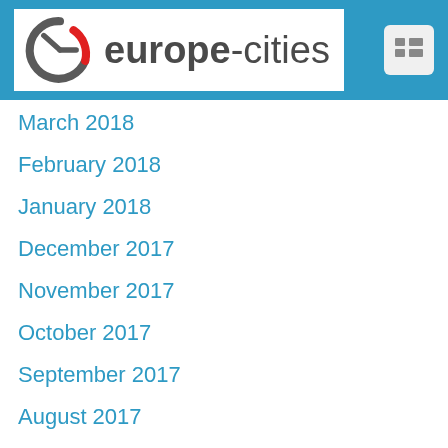europe-cities
March 2018
February 2018
January 2018
December 2017
November 2017
October 2017
September 2017
August 2017
July 2017